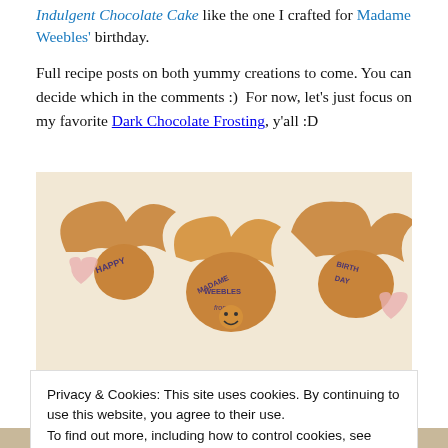Indulgent Chocolate Cake like the one I crafted for Madame Weebles' birthday.
Full recipe posts on both yummy creations to come. You can decide which in the comments :)  For now, let's just focus on my favorite Dark Chocolate Frosting, y'all :D
[Figure (photo): Bat-shaped chocolate cake decorations/toppers reading 'HAPPY BIRTHDAY MADAME WEEBLES from' on a light background]
Privacy & Cookies: This site uses cookies. By continuing to use this website, you agree to their use.
To find out more, including how to control cookies, see here: Cookie Policy
Close and accept